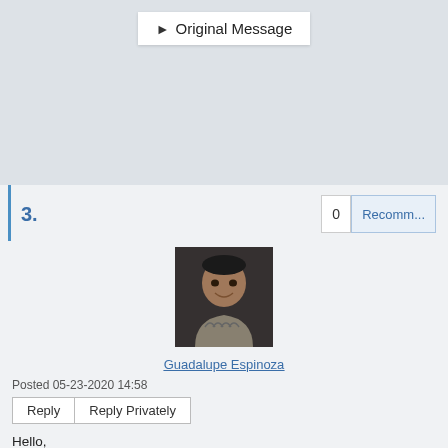[Figure (screenshot): Original Message button with arrow icon]
3.
[Figure (photo): Profile photo of Guadalupe Espinoza]
Guadalupe Espinoza
Posted 05-23-2020 14:58
Reply   Reply Privately
Hello,
I just finished recruitment on a study targeting 14-18 year old adolescents living in the United States and relied on Facebook and